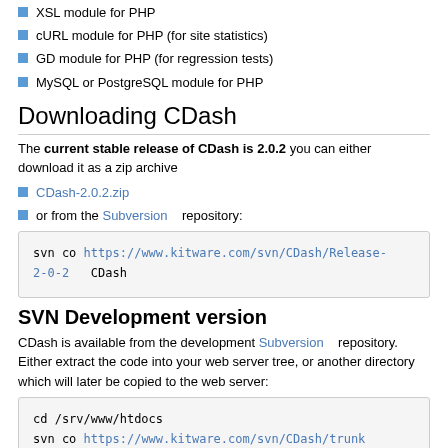XSL module for PHP
cURL module for PHP (for site statistics)
GD module for PHP (for regression tests)
MySQL or PostgreSQL module for PHP
Downloading CDash
The current stable release of CDash is 2.0.2 you can either download it as a zip archive
CDash-2.0.2.zip
or from the Subversion repository:
svn co https://www.kitware.com/svn/CDash/Release-2-0-2   CDash
SVN Development version
CDash is available from the development Subversion repository. Either extract the code into your web server tree, or another directory which will later be copied to the web server:
cd /srv/www/htdocs
svn co https://www.kitware.com/svn/CDash/trunk
CDash